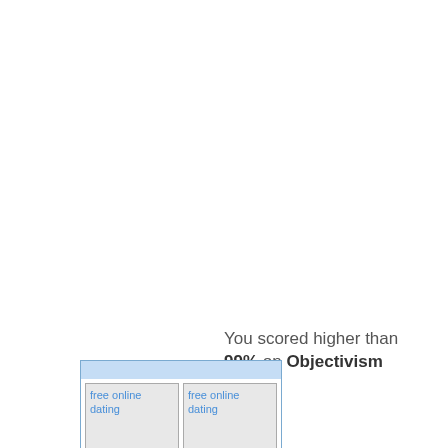You scored higher than 99% on Objectivism
[Figure (other): Advertisement box with light blue header bar and two broken image placeholders labeled 'free online dating']